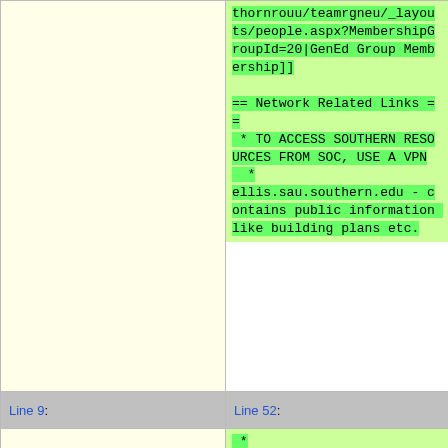thornrouu/teamrgneu/_layouts/people.aspx?MembershipGroupId=20|GenEd Group Membership]]
== Network Related Links ==
 * TO ACCESS SOUTHERN RESOURCES FROM SOC, USE A VPN
  *
ellis.sau.southern.edu - contains public information like building plans etc.
Line 9:
Line 52:
*
[[https://www.southern.edu/PublishingImages/about/event_calendar.pdf|Events Calendar 2011